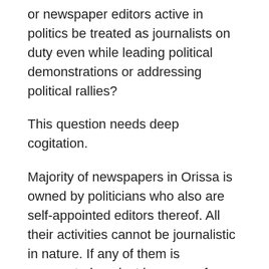or newspaper editors active in politics be treated as journalists on duty even while leading political demonstrations or addressing political rallies?
This question needs deep cogitation.
Majority of newspapers in Orissa is owned by politicians who also are self-appointed editors thereof. All their activities cannot be journalistic in nature. If any of them is prosecuted against because of any specific editorial, article, discussion or report in his/her paper, that should give MUFP the reason to intervene; but non-journalistic activities must not.